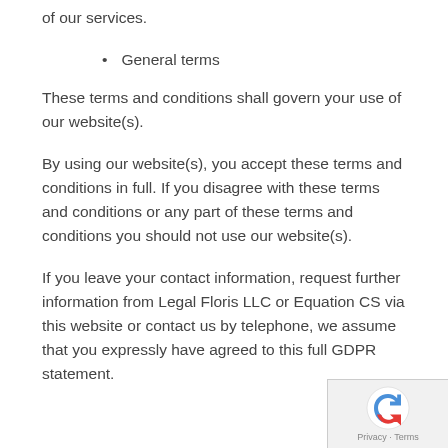of our services.
General terms
These terms and conditions shall govern your use of our website(s).
By using our website(s), you accept these terms and conditions in full. If you disagree with these terms and conditions or any part of these terms and conditions you should not use our website(s).
If you leave your contact information, request further information from Legal Floris LLC or Equation CS via this website or contact us by telephone, we assume that you expressly have agreed to this full GDPR statement.
Privacy · Terms